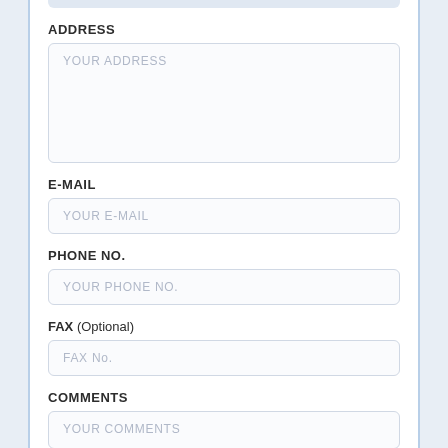ADDRESS
YOUR ADDRESS
E-MAIL
YOUR E-MAIL
PHONE NO.
YOUR PHONE NO.
FAX (Optional)
FAX No.
COMMENTS
YOUR COMMENTS